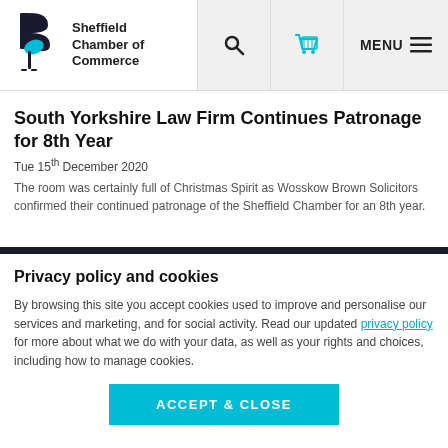[Figure (logo): Sheffield Chamber of Commerce logo with stylized B/flower icon and text]
South Yorkshire Law Firm Continues Patronage for 8th Year
Tue 15th December 2020
The room was certainly full of Christmas Spirit as Wosskow Brown Solicitors confirmed their continued patronage of the Sheffield Chamber for an 8th year.
Privacy policy and cookies
By browsing this site you accept cookies used to improve and personalise our services and marketing, and for social activity. Read our updated privacy policy for more about what we do with your data, as well as your rights and choices, including how to manage cookies.